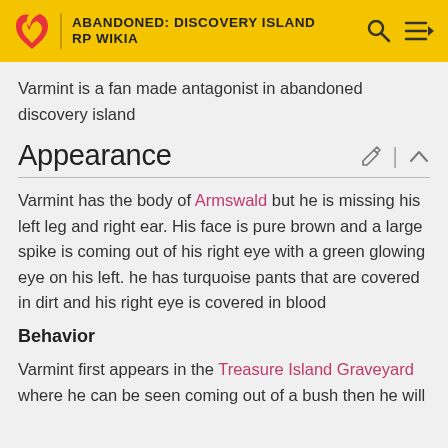ABANDONED: DISCOVERY ISLAND RP WIKIA
Varmint is a fan made antagonist in abandoned discovery island
Appearance
Varmint has the body of Armswald but he is missing his left leg and right ear. His face is pure brown and a large spike is coming out of his right eye with a green glowing eye on his left. he has turquoise pants that are covered in dirt and his right eye is covered in blood
Behavior
Varmint first appears in the Treasure Island Graveyard where he can be seen coming out of a bush then he will